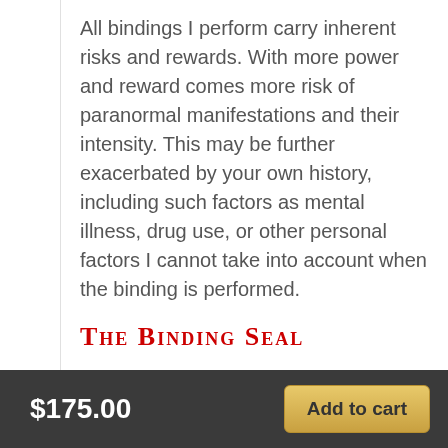All bindings I perform carry inherent risks and rewards. With more power and reward comes more risk of paranormal manifestations and their intensity. This may be further exacerbated by your own history, including such factors as mental illness, drug use, or other personal factors I cannot take into account when the binding is performed.
The Binding Seal
Each direct binding is performed with an official binding...
$175.00   Add to cart